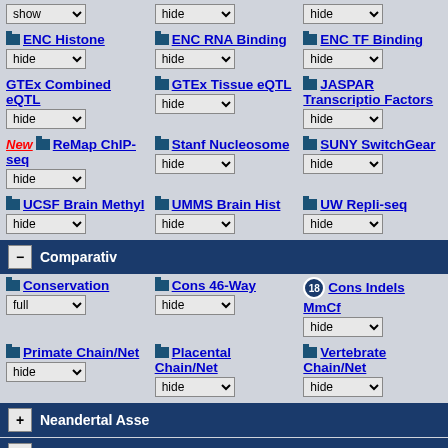show (dropdown)
hide (dropdown)
hide (dropdown)
ENC Histone | hide
ENC RNA Binding | hide
ENC TF Binding | hide
GTEx Combined eQTL | hide
GTEx Tissue eQTL | hide
JASPAR Transcription Factors | hide
New ReMap ChIP-seq | hide
Stanf Nucleosome | hide
SUNY SwitchGear | hide
UCSF Brain Methyl | hide
UMMS Brain Hist | hide
UW Repli-seq | hide
- Comparative
Conservation | full
Cons 46-Way | hide
Cons Indels MmCf | hide
Primate Chain/Net | hide
Placental Chain/Net | hide
Vertebrate Chain/Net | hide
+ Neandertal Asse
+ Denisova Asse